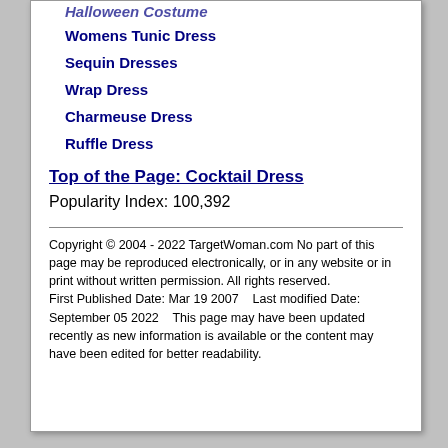Halloween Costume
Womens Tunic Dress
Sequin Dresses
Wrap Dress
Charmeuse Dress
Ruffle Dress
Top of the Page: Cocktail Dress
Popularity Index: 100,392
Copyright © 2004 - 2022 TargetWoman.com No part of this page may be reproduced electronically, or in any website or in print without written permission. All rights reserved.
First Published Date: Mar 19 2007   Last modified Date: September 05 2022   This page may have been updated recently as new information is available or the content may have been edited for better readability.